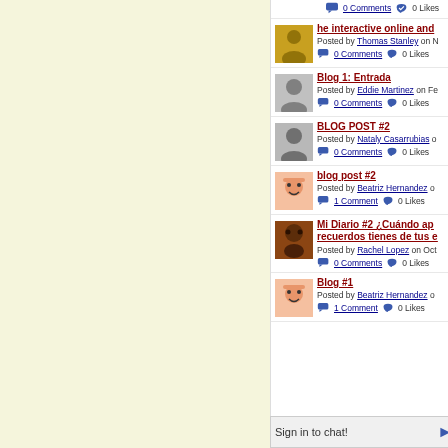0 Comments · 0 Likes (top entry, partial)
he interactive online and... — Posted by Thomas Stanley on N... — 0 Comments · 0 Likes
Blog 1: Entrada — Posted by Eddie Martinez on Fe... — 0 Comments · 0 Likes
BLOG POST #2 — Posted by Nataly Casarrubias o... — 0 Comments · 0 Likes
blog post #2 — Posted by Beatriz Hernandez o... — 1 Comment · 0 Likes
Mi Diario #2 ¿Cuándo ap... recuerdos tienes de tus e... — Posted by Rachel Lopez on Oct... — 0 Comments · 0 Likes
Blog #1 — Posted by Beatriz Hernandez o... — 1 Comment · 0 Likes
Sign in to chat!